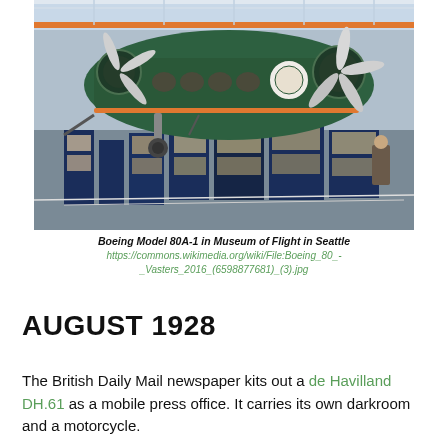[Figure (photo): Boeing Model 80A-1 aircraft on display in the Museum of Flight in Seattle. The green twin-engine biplane is shown from the front, with exhibition panels and visitors visible below.]
Boeing Model 80A-1 in Museum of Flight in Seattle
https://commons.wikimedia.org/wiki/File:Boeing_80_-_Vasters_2016_(6598877681)_(3).jpg
AUGUST 1928
The British Daily Mail newspaper kits out a de Havilland DH.61 as a mobile press office. It carries its own darkroom and a motorcycle.